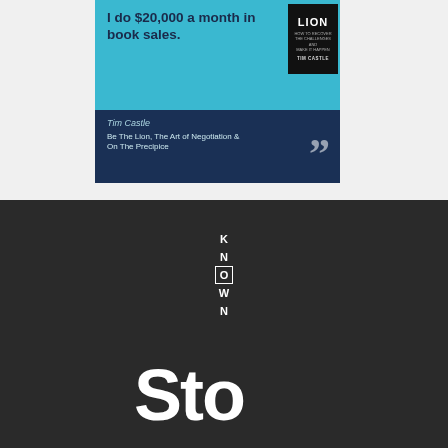[Figure (other): Testimonial card with light blue top section showing quote text 'I do $20,000 a month in book sales.' on dark blue background with author name Tim Castle and book titles Be The Lion, The Art of Negotiation & On The Precipice. Black book cover with LION text on right side.]
[Figure (logo): KNOWN logo text arranged vertically with letters K, N, O, W, N where N is inside a bordered box. Below is large stylized 'Sto' text in white on dark background.]